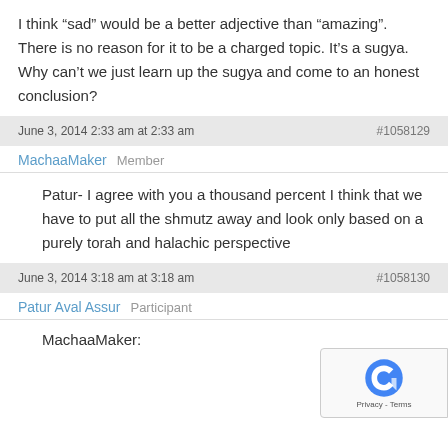I think “sad” would be a better adjective than “amazing”. There is no reason for it to be a charged topic. It’s a sugya. Why can’t we just learn up the sugya and come to an honest conclusion?
June 3, 2014 2:33 am at 2:33 am                               #1058129
MachaaMaker   Member
Patur- I agree with you a thousand percent I think that we have to put all the shmutz away and look only based on a purely torah and halachic perspective
June 3, 2014 3:18 am at 3:18 am                               #1058130
Patur Aval Assur   Participant
MachaaMaker: